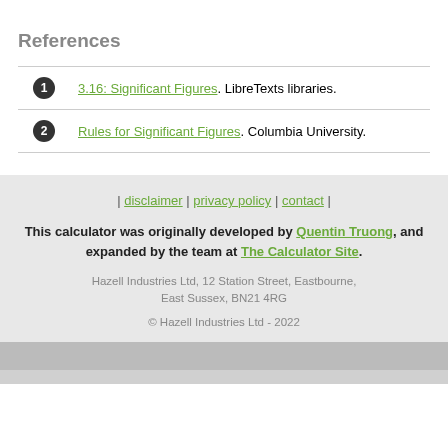References
1. 3.16: Significant Figures. LibreTexts libraries.
2. Rules for Significant Figures. Columbia University.
| disclaimer | privacy policy | contact | This calculator was originally developed by Quentin Truong, and expanded by the team at The Calculator Site. Hazell Industries Ltd, 12 Station Street, Eastbourne, East Sussex, BN21 4RG © Hazell Industries Ltd - 2022